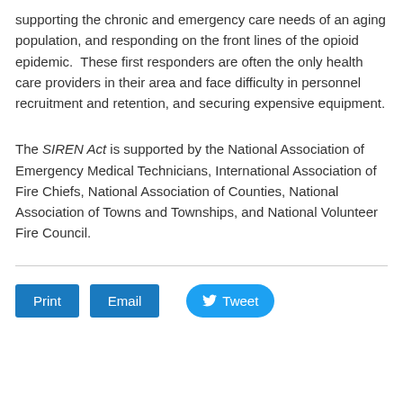supporting the chronic and emergency care needs of an aging population, and responding on the front lines of the opioid epidemic.  These first responders are often the only health care providers in their area and face difficulty in personnel recruitment and retention, and securing expensive equipment.
The SIREN Act is supported by the National Association of Emergency Medical Technicians, International Association of Fire Chiefs, National Association of Counties, National Association of Towns and Townships, and National Volunteer Fire Council.
Print | Email | Tweet